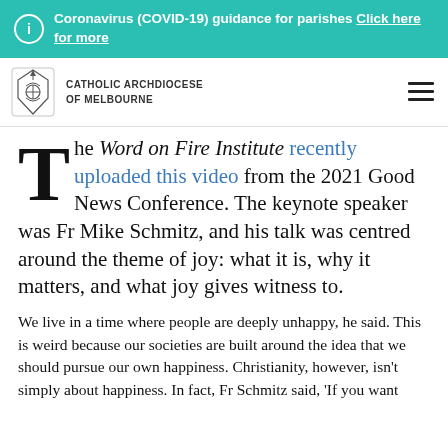Coronavirus (COVID-19) guidance for parishes Click here for more
[Figure (logo): Catholic Archdiocese of Melbourne logo with crest icon and organisation name]
The Word on Fire Institute recently uploaded this video from the 2021 Good News Conference. The keynote speaker was Fr Mike Schmitz, and his talk was centred around the theme of joy: what it is, why it matters, and what joy gives witness to.
We live in a time where people are deeply unhappy, he said. This is weird because our societies are built around the idea that we should pursue our own happiness. Christianity, however, isn't simply about happiness. In fact, Fr Schmitz said, 'If you want